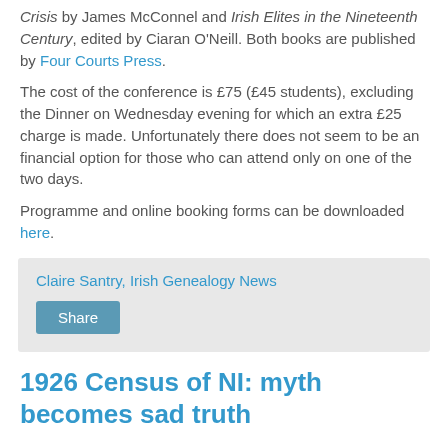Crisis by James McConnel and Irish Elites in the Nineteenth Century, edited by Ciaran O'Neill. Both books are published by Four Courts Press.
The cost of the conference is £75 (£45 students), excluding the Dinner on Wednesday evening for which an extra £25 charge is made. Unfortunately there does not seem to be an financial option for those who can attend only on one of the two days.
Programme and online booking forms can be downloaded here.
Claire Santry, Irish Genealogy News
Share
1926 Census of NI: myth becomes sad truth